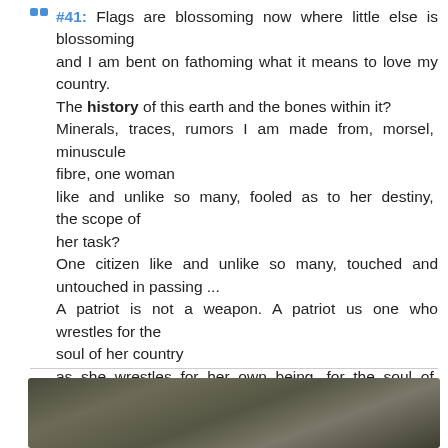#41: Flags are blossoming now where little else is blossoming and I am bent on fathoming what it means to love my country. The history of this earth and the bones within it? Minerals, traces, rumors I am made from, morsel, minuscule fibre, one woman like and unlike so many, fooled as to her destiny, the scope of her task? One citizen like and unlike so many, touched and untouched in passing ... A patriot is not a weapon. A patriot us one who wrestles for the soul of her country as she wrestles for her own being, for the soul of his country ... #Quote by Adrienne Rich ””
[Figure (photo): A dark, muted photograph partially visible at the bottom of the page, with brown, gray and dark olive tones.]